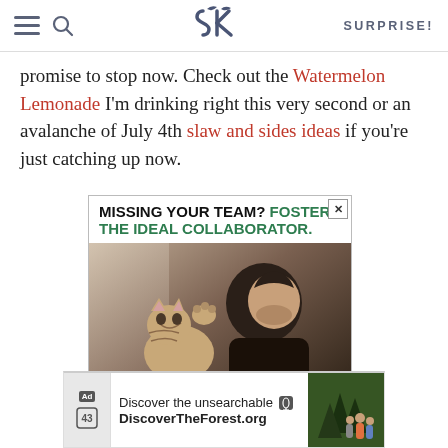SK — SURPRISE!
promise to stop now. Check out the Watermelon Lemonade I'm drinking right this very second or an avalanche of July 4th slaw and sides ideas if you're just catching up now.
[Figure (photo): Advertisement showing a man and a kitten, with text 'MISSING YOUR TEAM? FOSTER THE IDEAL COLLABORATOR.' and hashtag '#AdoptPureLove']
[Figure (screenshot): Banner ad for DiscoverTheForest.org with text 'Discover the unsearchable' and image of people hiking in a forest]